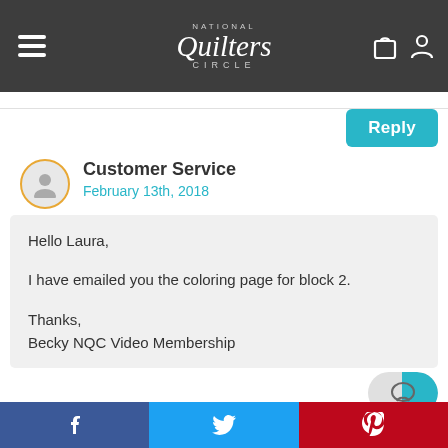National Quilters Circle
Reply
Customer Service
February 13th, 2018
Hello Laura,

I have emailed you the coloring page for block 2.

Thanks,
Becky NQC Video Membership
AnnMarie DeVito
f  Twitter  Pinterest